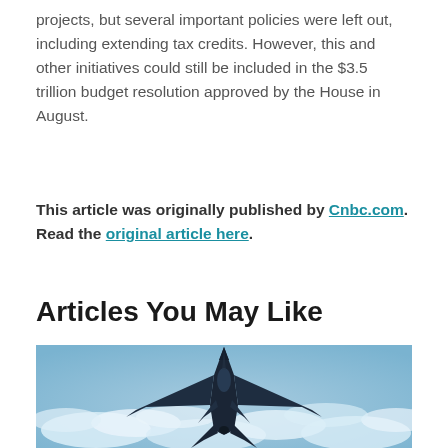projects, but several important policies were left out, including extending tax credits. However, this and other initiatives could still be included in the $3.5 trillion budget resolution approved by the House in August.
This article was originally published by Cnbc.com. Read the original article here.
Articles You May Like
[Figure (photo): Aerial photograph of a dark stealth fighter jet (F-35 style) viewed from above, flying over a cloudy sky with blue and white clouds below.]